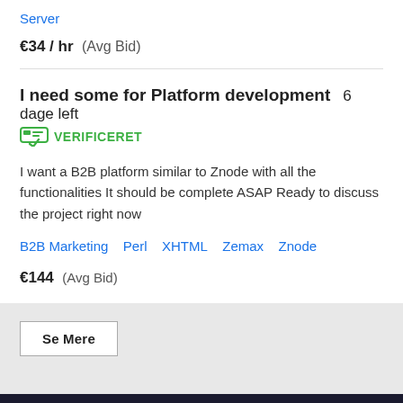Server
€34 / hr  (Avg Bid)
I need some for Platform development  6 dage left  VERIFICERET
I want a B2B platform similar to Znode with all the functionalities It should be complete ASAP Ready to discuss the project right now
B2B Marketing   Perl   XHTML   Zemax   Znode
€144  (Avg Bid)
Se Mere